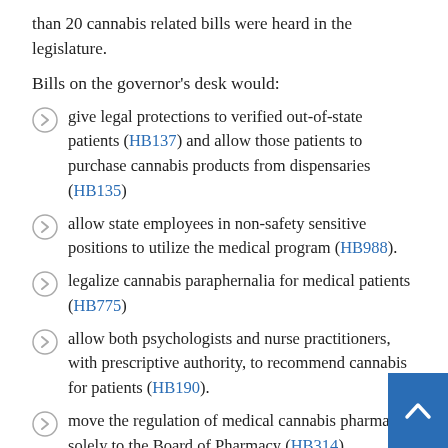than 20 cannabis related bills were heard in the legislature.
Bills on the governor's desk would:
give legal protections to verified out-of-state patients (HB137) and allow those patients to purchase cannabis products from dispensaries (HB135)
allow state employees in non-safety sensitive positions to utilize the medical program (HB988).
legalize cannabis paraphernalia for medical patients (HB775)
allow both psychologists and nurse practitioners, with prescriptive authority, to recommend cannabis for patients (HB190).
move the regulation of medical cannabis pharmacies solely to the Board of Pharmacy (HB314).
loosen suitability requirements to work in the industry